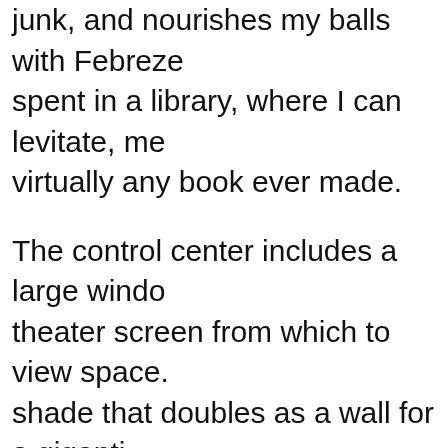junk, and nourishes my balls with Febreze spent in a library, where I can levitate, me virtually any book ever made.
The control center includes a large window theater screen from which to view space. shade that doubles as a wall for a gigantic displays every episode of Tales From the Wii. My shower — which I rarely use — ha Realdolls chained to the ceiling. Ms. Blade anal cavities, even though Biggs is progra couple centuries, I eventually win Sonya c despite repeated molestation. One night b upon God. Upon killing him with a laser th